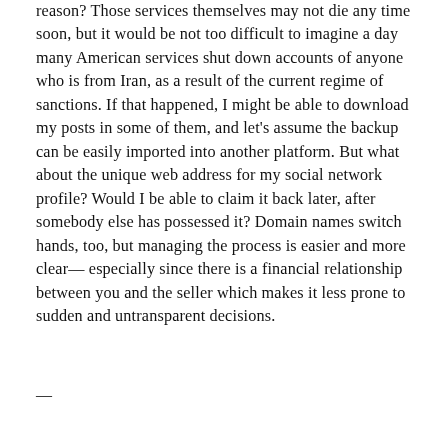reason? Those services themselves may not die any time soon, but it would be not too difficult to imagine a day many American services shut down accounts of anyone who is from Iran, as a result of the current regime of sanctions. If that happened, I might be able to download my posts in some of them, and let’s assume the backup can be easily imported into another platform. But what about the unique web address for my social network profile? Would I be able to claim it back later, after somebody else has possessed it? Domain names switch hands, too, but managing the process is easier and more clear— especially since there is a financial relationship between you and the seller which makes it less prone to sudden and untransparent decisions.
—